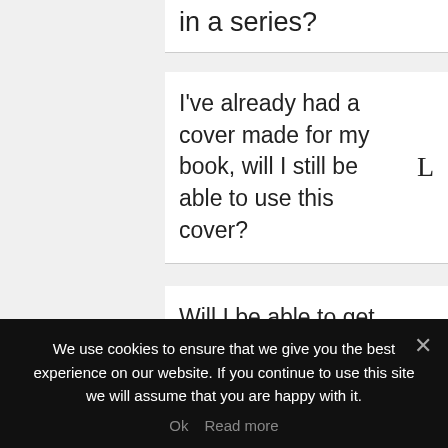in a series?
I've already had a cover made for my book, will I still be able to use this cover?
Will I be able to get the money back that I spent for the cover design?
How involved will I be in the editing process?
We use cookies to ensure that we give you the best experience on our website. If you continue to use this site we will assume that you are happy with it.